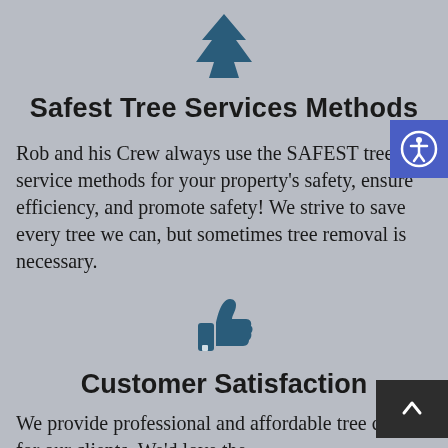[Figure (illustration): Dark teal pine tree icon centered at top of page]
Safest Tree Services Methods
Rob and his Crew always use the SAFEST tree service methods for your property's safety, ensure efficiency, and promote safety! We strive to save every tree we can, but sometimes tree removal is necessary.
[Figure (illustration): Dark teal thumbs up / like icon centered]
Customer Satisfaction
We provide professional and affordable tree care for our clients. We'd love the